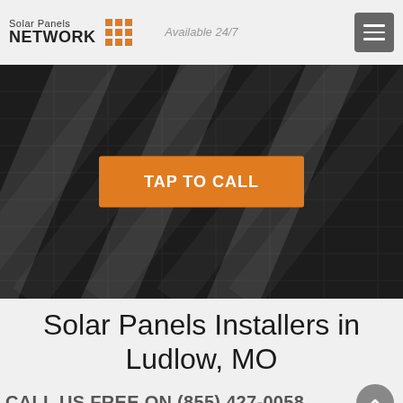[Figure (logo): Solar Panels Network logo with orange grid icon]
Available 24/7
[Figure (screenshot): Dark background showing solar panels close-up with diagonal reflective surfaces]
TAP TO CALL
Solar Panels Installers in Ludlow, MO
CALL US FREE ON (855) 427-0058